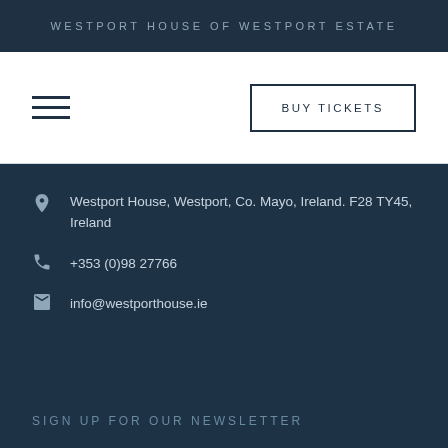WESTPORT HOUSE OF WESTPORT ESTATE
BUY TICKETS
Westport House, Westport, Co. Mayo, Ireland. F28 TY45, Ireland
+353 (0)98 27766
info@westporthouse.ie
SIGN UP FOR OUR NEWSLETTER